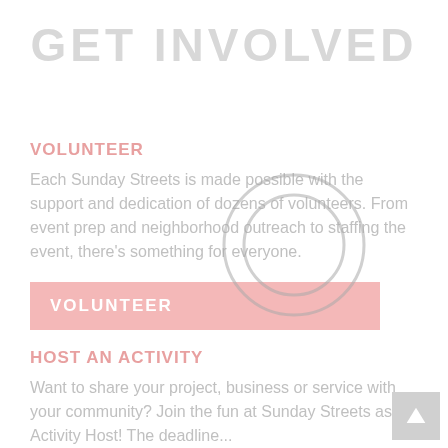GET INVOLVED
VOLUNTEER
Each Sunday Streets is made possible with the support and dedication of dozens of volunteers. From event prep and neighborhood outreach to staffing the event, there's something for everyone.
VOLUNTEER
HOST AN ACTIVITY
Want to share your project, business or service with your community? Join the fun at Sunday Streets as an Activity Host! The deadline...